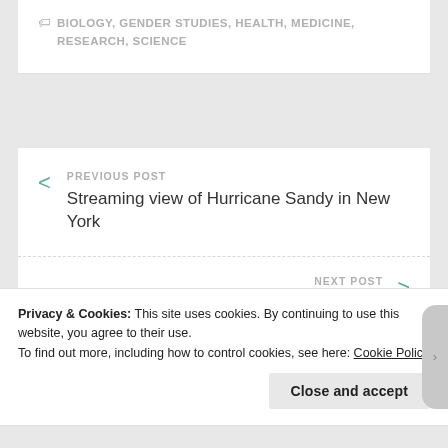BIOLOGY, GENDER STUDIES, HEALTH, MEDICINE, RESEARCH, SCIENCE
PREVIOUS POST
Streaming view of Hurricane Sandy in New York
NEXT POST
Privacy & Cookies: This site uses cookies. By continuing to use this website, you agree to their use.
To find out more, including how to control cookies, see here: Cookie Policy
Close and accept